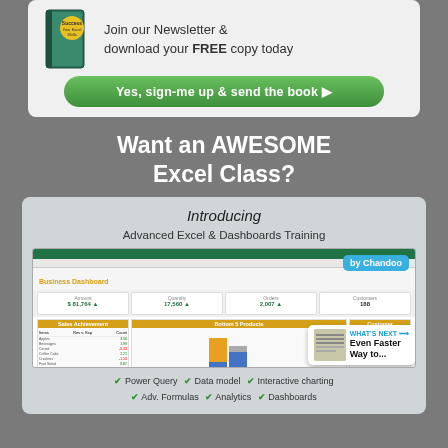[Figure (illustration): Newsletter signup banner with a book icon and green CTA button reading 'Yes, sign-me up & send the book ▶'. Text says 'Join our Newsletter & download your FREE copy today'.]
Want an AWESOME Excel Class?
[Figure (screenshot): Course promotional card for 'Advanced Excel & Dashboards Training by Chandoo' showing an Excel Business Dashboard screenshot with charts and a 'WHAT'S NEXT → Even Faster Way to...' overlay. Features listed: Power Query, Data model, Interactive charting, Adv. Formulas, Analytics, Dashboards.]